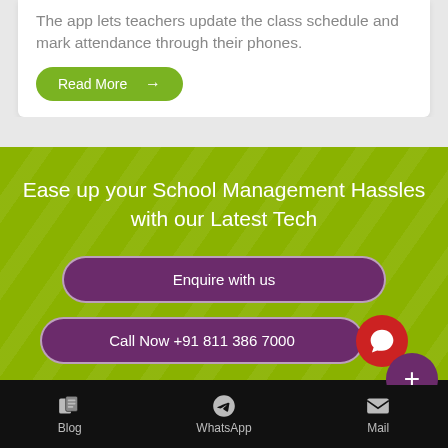The app lets teachers update the class schedule and mark attendance through their phones.
Read More →
Ease up your School Management Hassles with our Latest Tech
Enquire with us
Call Now +91 811 386 7000
Blog   WhatsApp   Mail